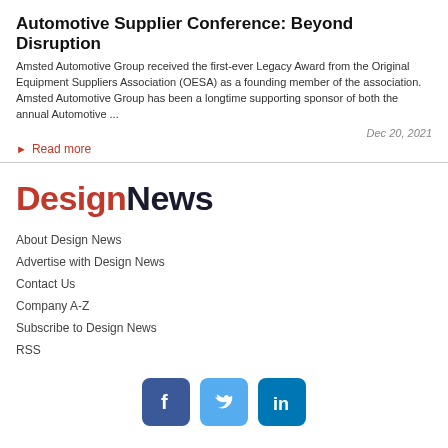Automotive Supplier Conference: Beyond Disruption
Amsted Automotive Group received the first-ever Legacy Award from the Original Equipment Suppliers Association (OESA) as a founding member of the association. Amsted Automotive Group has been a longtime supporting sponsor of both the annual Automotive ...
Dec 20, 2021
Read more
[Figure (logo): Design News logo with 'Design' in red and 'News' in dark navy bold text]
About Design News
Advertise with Design News
Contact Us
Company A-Z
Subscribe to Design News
RSS
[Figure (illustration): Social media icons for Facebook, Twitter, and LinkedIn]